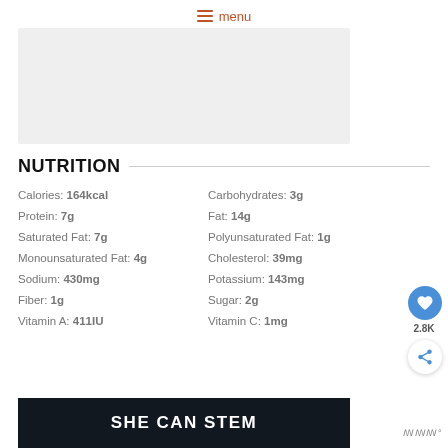≡ menu
[Figure (photo): Image placeholder area (light gray rectangle)]
NUTRITION
Calories: 164kcal
Carbohydrates: 3g
Protein: 7g
Fat: 14g
Saturated Fat: 7g
Polyunsaturated Fat: 1g
Monounsaturated Fat: 4g
Cholesterol: 39mg
Sodium: 430mg
Potassium: 143mg
Fiber: 1g
Sugar: 2g
Vitamin A: 411IU
Vitamin C: 1mg
[Figure (illustration): Dark banner with text SHE CAN STEM]